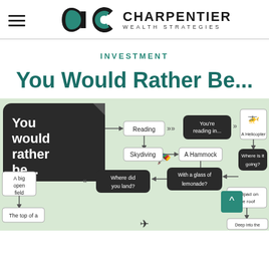Charpentier Wealth Strategies
INVESTMENT
You Would Rather Be...
[Figure (flowchart): A flowchart infographic titled 'You would rather be...' on a green background, showing branching paths with options like Reading, Skydiving, You're reading in..., A Hammock, A Helicopter, Where is it going?, With a glass of lemonade?, A big open field, Where did you land?, Helipad on the roof, Deep into the wilderness, The top of a ...]